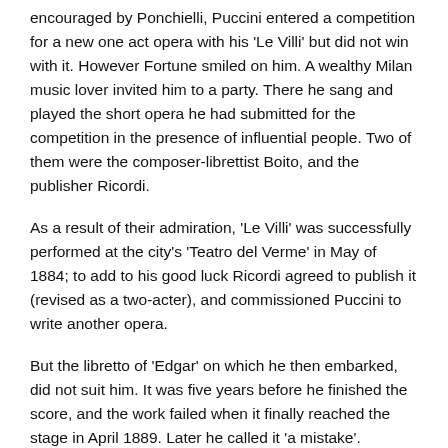encouraged by Ponchielli, Puccini entered a competition for a new one act opera with his 'Le Villi' but did not win with it. However Fortune smiled on him. A wealthy Milan music lover invited him to a party. There he sang and played the short opera he had submitted for the competition in the presence of influential people. Two of them were the composer-librettist Boito, and the publisher Ricordi.
As a result of their admiration, 'Le Villi' was successfully performed at the city's 'Teatro del Verme' in May of 1884; to add to his good luck Ricordi agreed to publish it (revised as a two-acter), and commissioned Puccini to write another opera.
But the libretto of 'Edgar' on which he then embarked, did not suit him. It was five years before he finished the score, and the work failed when it finally reached the stage in April 1889. Later he called it 'a mistake'.